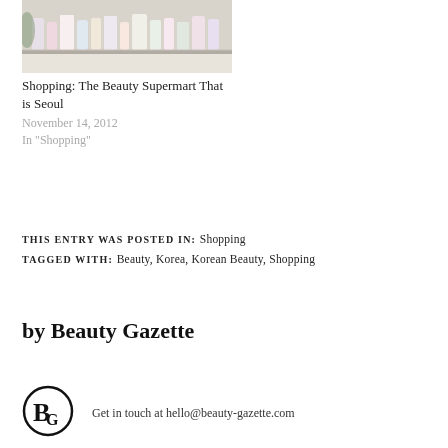[Figure (photo): Photo of beauty products on a store shelf/display counter]
Shopping: The Beauty Supermart That is Seoul
November 14, 2012
In "Shopping"
THIS ENTRY WAS POSTED IN: Shopping
TAGGED WITH: Beauty, Korea, Korean Beauty, Shopping
by Beauty Gazette
Get in touch at hello@beauty-gazette.com